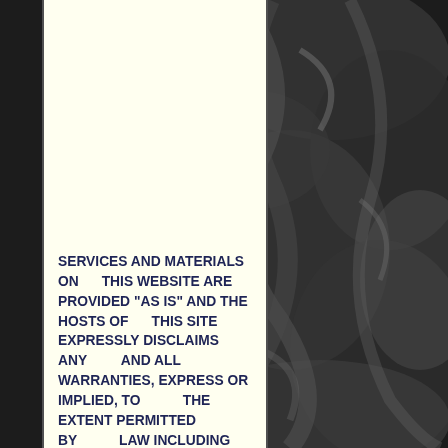[Figure (photo): Dark background showing black draped fabric/satin texture, occupying the right portion and far left of the page]
SERVICES AND MATERIALS ON THIS WEBSITE ARE PROVIDED "AS IS" AND THE HOSTS OF THIS SITE EXPRESSLY DISCLAIMS ANY AND ALL WARRANTIES, EXPRESS OR IMPLIED, TO THE EXTENT PERMITTED BY LAW INCLUDING BUT NOT LIMITED TO WARRANTIES OF SATISFACTORY QUALITY,